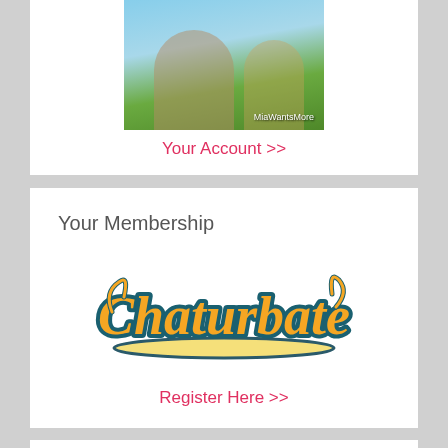[Figure (photo): Photo of a person outdoors with blue sky, with text overlay 'MiaWantsMore']
Your Account >>
Your Membership
[Figure (logo): Chaturbate logo — orange script lettering with teal outline on a banner/underline]
Register Here >>